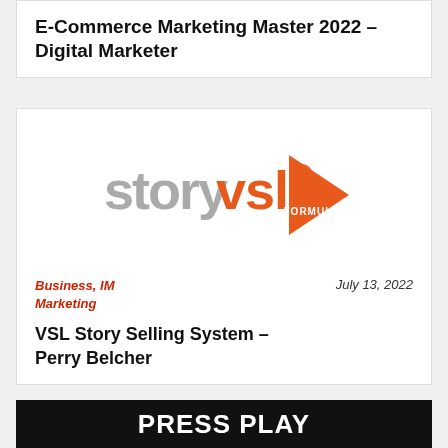E-Commerce Marketing Master 2022 – Digital Marketer
[Figure (logo): StoryVSL Formula logo: grey 'story' text and orange 'vsl' text with an orange play button triangle on the right and 'FORMULA' text inside, with registered trademark symbol]
Business, IM Marketing
July 13, 2022
VSL Story Selling System – Perry Belcher
PRESS PLAY